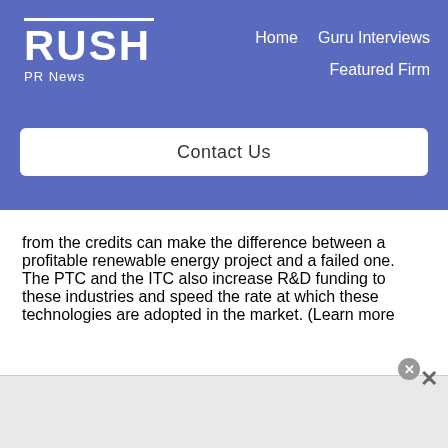RUSH PR News — Home | Guru Interviews | Featured Firm | Contact Us
from the credits can make the difference between a profitable renewable energy project and a failed one. The PTC and the ITC also increase R&D funding to these industries and speed the rate at which these technologies are adopted in the market. (Learn more